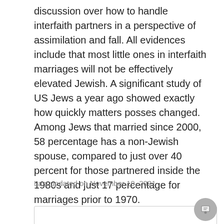discussion over how to handle interfaith partners in a perspective of assimilation and fall. All evidences include that most little ones in interfaith marriages will not be effectively elevated Jewish. A significant study of US Jews a year ago showed exactly how quickly matters posses changed. Among Jews that married since 2000, 58 percentage has a non-Jewish spouse, compared to just over 40 percent for those partnered inside the 1980s and just 17 percentage for marriages prior to 1970.
Last updated on November 19, 2021